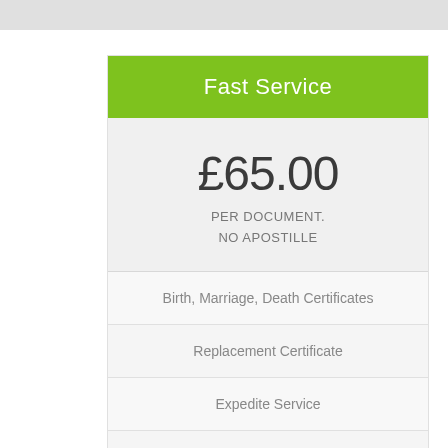Fast Service
£65.00
PER DOCUMENT.
NO APOSTILLE
Birth, Marriage, Death Certificates
Replacement Certificate
Expedite Service
2 to 3 days
No apostille
Order Now!